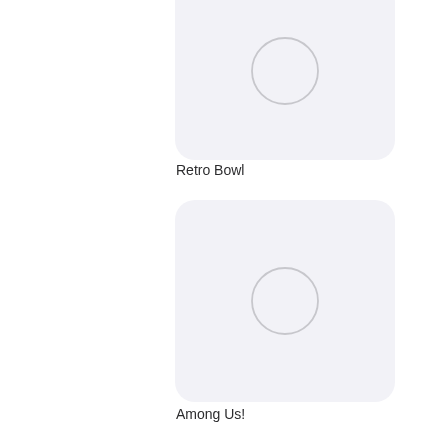[Figure (screenshot): App icon placeholder for Retro Bowl - rounded rectangle with light gray background and circle outline]
Retro Bowl
[Figure (screenshot): App icon placeholder for Among Us! - rounded rectangle with light gray background and circle outline]
Among Us!
[Figure (screenshot): App icon placeholder for Bridge Race - rounded rectangle with light gray background and circle outline]
Bridge Race
[Figure (screenshot): App icon placeholder (partial, cropped) - rounded rectangle with light gray background, partially visible at bottom]